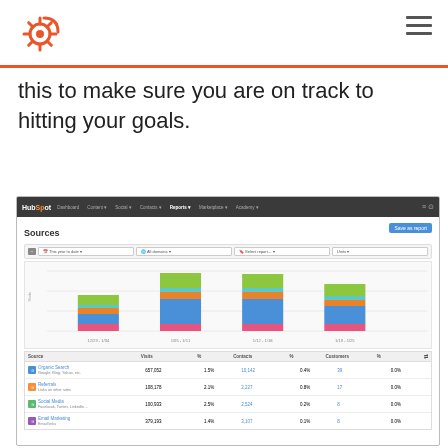HubSpot logo and navigation
this to make sure you are on track to hitting your goals.
[Figure (screenshot): HubSpot Sources report screenshot showing a stacked bar chart with visits data across date ranges (12/29-1/4, 1/05-1/11, 1/12-1/18, 1/19-1/25) and a data table listing Organic Search (657,052 visits, 1.5%, 10,142 contacts, 0.4%, 39, 0.0%), Referrals (108,178 visits, 2.1%, 2,227 contacts, 0.8%, 17, 0.0%), Social Media (100,933 visits, 2.5%, 2,524 contacts, 0.2%, 8, 0.0%), Email Marketing (379,193 visits, 1.4%, 3,107 contacts, 0.1%, 8, 0.0%)]